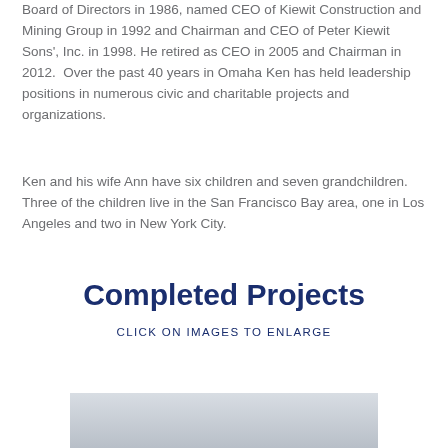Board of Directors in 1986, named CEO of Kiewit Construction and Mining Group in 1992 and Chairman and CEO of Peter Kiewit Sons', Inc. in 1998. He retired as CEO in 2005 and Chairman in 2012.  Over the past 40 years in Omaha Ken has held leadership positions in numerous civic and charitable projects and organizations.
Ken and his wife Ann have six children and seven grandchildren. Three of the children live in the San Francisco Bay area, one in Los Angeles and two in New York City.
Completed Projects
CLICK ON IMAGES TO ENLARGE
[Figure (photo): Partial view of a photograph at the bottom of the page, partially cropped.]